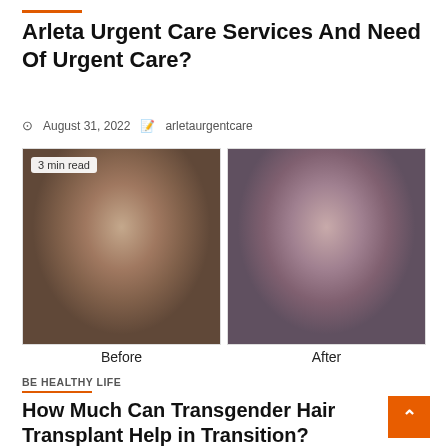Arleta Urgent Care Services And Need Of Urgent Care?
August 31, 2022   arletaurgentcare
[Figure (photo): Before and after comparison photos: left photo shows a person with long dark hair (labeled 'Before'), right photo shows same person with styled hair and feminine appearance (labeled 'After'). A '3 min read' badge appears in the top-left of the left photo.]
BE HEALTHY LIFE
How Much Can Transgender Hair Transplant Help in Transition?